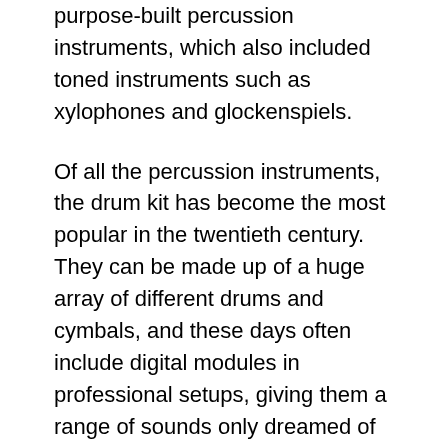purpose-built percussion instruments, which also included toned instruments such as xylophones and glockenspiels.
Of all the percussion instruments, the drum kit has become the most popular in the twentieth century. They can be made up of a huge array of different drums and cymbals, and these days often include digital modules in professional setups, giving them a range of sounds only dreamed of previously.
Learning percussion can be relatively simple to start off with, but can require some detailed mathematical understanding at more advanced levels.
Pros